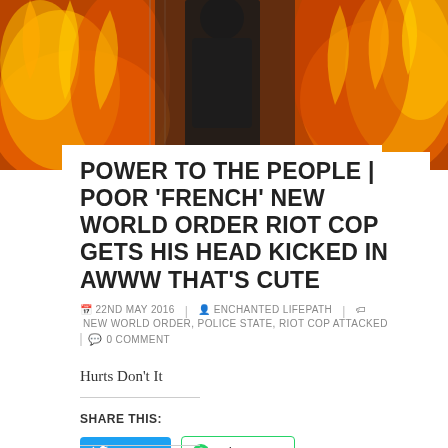[Figure (photo): Person standing in front of large fire and flames, with chain-link fence visible]
POWER TO THE PEOPLE | POOR 'FRENCH' NEW WORLD ORDER RIOT COP GETS HIS HEAD KICKED IN AWWW THAT'S CUTE
22ND MAY 2016   ENCHANTED LIFEPATH   NEW WORLD ORDER, POLICE STATE, RIOT COP ATTACKED   0 COMMENT
Hurts Don't It
SHARE THIS:
Tweet   WhatsApp   Telegram   Pocket   0